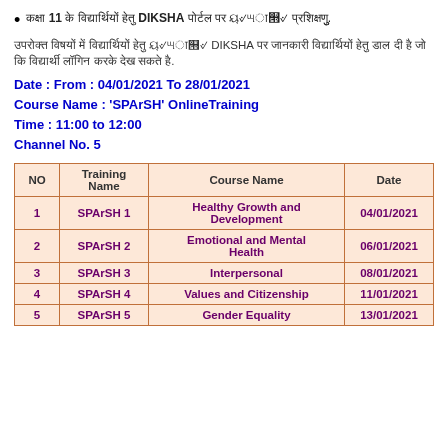कक्षा 11 के विद्यार्थियों हेतु DIKSHA पोर्टल पर ऑनलाइन प्रशिक्षण.
उपरोक्त विषयों में विद्यार्थियों हेतु ऑनलाइन DIKSHA पर जानकारी विद्यार्थियों हेतु डाल दी है जो कि विद्यार्थियों लॉगिन करके देख सकते है.
Date : From : 04/01/2021 To 28/01/2021
Course Name : 'SPArSH' OnlineTraining
Time : 11:00 to 12:00
Channel No. 5
| NO | Training Name | Course Name | Date |
| --- | --- | --- | --- |
| 1 | SPArSH 1 | Healthy Growth and Development | 04/01/2021 |
| 2 | SPArSH 2 | Emotional and Mental Health | 06/01/2021 |
| 3 | SPArSH 3 | Interpersonal | 08/01/2021 |
| 4 | SPArSH 4 | Values and Citizenship | 11/01/2021 |
| 5 | SPArSH 5 | Gender Equality | 13/01/2021 |